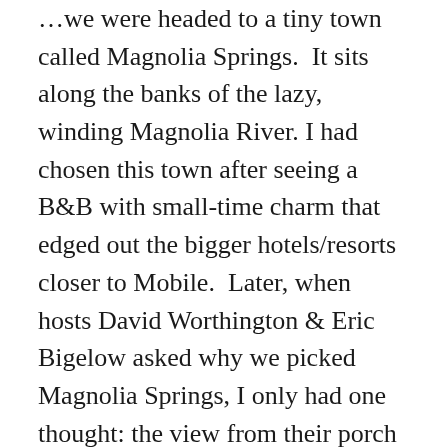...we were headed to a tiny town called Magnolia Springs.  It sits along the banks of the lazy, winding Magnolia River. I had chosen this town after seeing a B&B with small-time charm that edged out the bigger hotels/resorts closer to Mobile.  Later, when hosts David Worthington & Eric Bigelow asked why we picked Magnolia Springs, I only had one thought: the view from their porch fit perfectly into my fantasy of a small town in the South! Never having set foot in Alabama, Mississippi or Louisiana, I'll embarassingly admit, all my expectations were born out of watching movies.  After glimpsing the beautiful alley of live oaks and I read on to discover Jesse's (one of only 4...